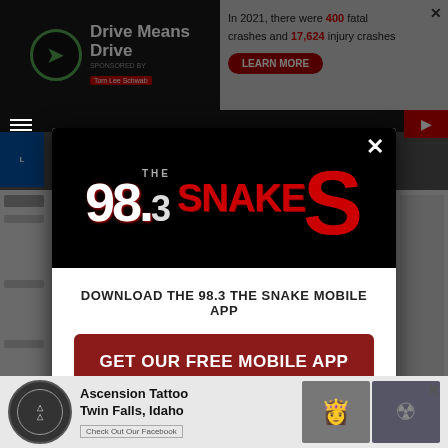[Figure (screenshot): Top advertisement banner: 'Drive Means Drive' sponsored ad on left (dark background), traffic safety stats on right showing '400 fatal crashes and 17,624 injury crashes' with 'LEARN MORE' button]
[Figure (screenshot): Modal popup dialog for 98.3 The Snake radio station showing logo, 'DOWNLOAD THE 98.3 THE SNAKE MOBILE APP' text, 'GET OUR FREE MOBILE APP' red button, and 'Also listen on: amazon alexa' section. Has X close button in top right.]
[Figure (screenshot): Bottom advertisement for Ascension Tattoo, Twin Falls, Idaho with tattoo images and 'Check Out Our Facebook' link. Has X close button.]